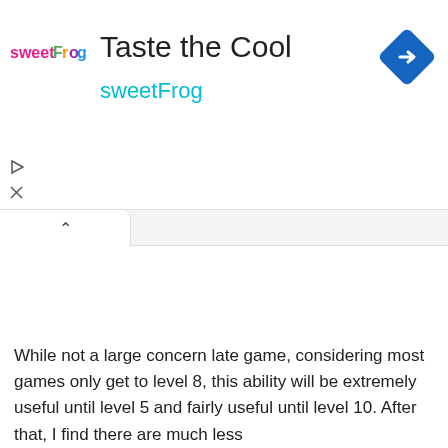[Figure (screenshot): sweetFrog advertisement banner with logo, title 'Taste the Cool', brand name 'sweetFrog' in cyan, and a blue diamond navigation icon in top right.]
While not a large concern late game, considering most games only get to level 8, this ability will be extremely useful until level 5 and fairly useful until level 10. After that, I find there are much less